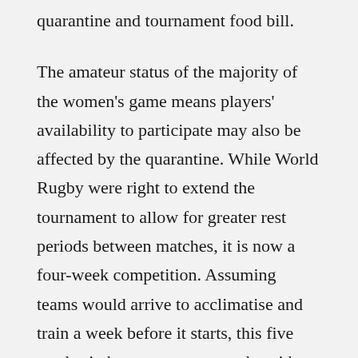quarantine and tournament food bill.
The amateur status of the majority of the women's game means players' availability to participate may also be affected by the quarantine. While World Rugby were right to extend the tournament to allow for greater rest periods between matches, it is now a four-week competition. Assuming teams would arrive to acclimatise and train a week before it starts, this five week trip becomes seven weeks with the managed isolation taken into account. Women's rugby players have courted many considerate employers over the years to allow them to train and play for their countries but this extended period of absence may be an ask too far and will no doubt be